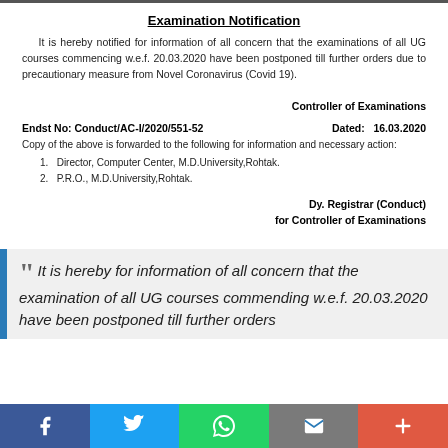Examination Notification
It is hereby notified for information of all concern that the examinations of all UG courses commencing w.e.f. 20.03.2020 have been postponed till further orders due to precautionary measure from Novel Coronavirus (Covid 19).
Controller of Examinations
Endst No: Conduct/AC-I/2020/551-52    Dated:   16.03.2020
Copy of the above is forwarded to the following for information and necessary action:
Director, Computer Center, M.D.University,Rohtak.
P.R.O., M.D.University,Rohtak.
Dy. Registrar (Conduct)
for Controller of Examinations
““ It is hereby for information of all concern that the examination of all UG courses commending w.e.f. 20.03.2020 have been postponed till further orders